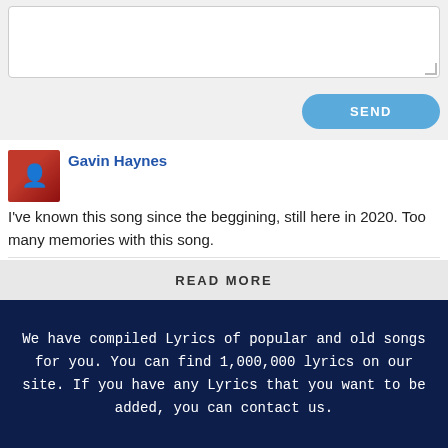[Figure (screenshot): Text input textarea with resize handle, white background, gray border]
SEND
Gavin Haynes
I've known this song since the beggining, still here in 2020. Too many memories with this song.
Luis Leyva
2020 anyone?
READ MORE
We have compiled Lyrics of popular and old songs for you. You can find 1,000,000 lyrics on our site. If you have any Lyrics that you want to be added, you can contact us.